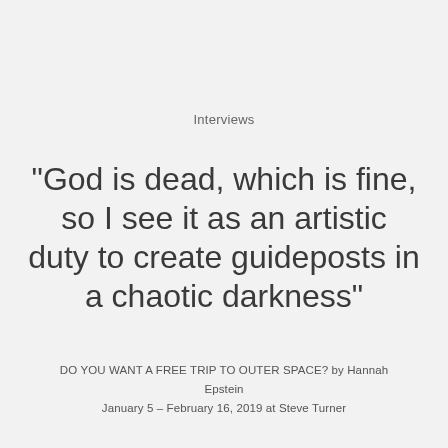Interviews
"God is dead, which is fine, so I see it as an artistic duty to create guideposts in a chaotic darkness"
DO YOU WANT A FREE TRIP TO OUTER SPACE? by Hannah Epstein
January 5 – February 16, 2019 at Steve Turner